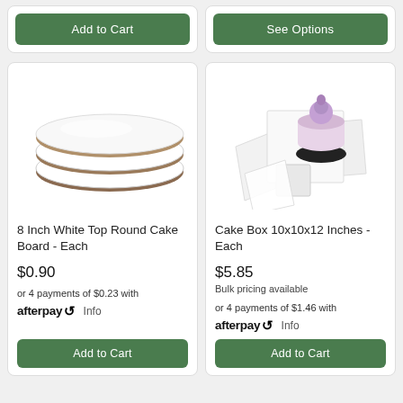Add to Cart
See Options
[Figure (photo): Stack of white round cake boards with brown edges, 8 inch]
8 Inch White Top Round Cake Board - Each
$0.90
or 4 payments of $0.23 with afterpay Info
Add to Cart
[Figure (photo): Cake box 10x10x12 inches with white box pieces and a purple decorated cake]
Cake Box 10x10x12 Inches - Each
$5.85
Bulk pricing available
or 4 payments of $1.46 with afterpay Info
Add to Cart